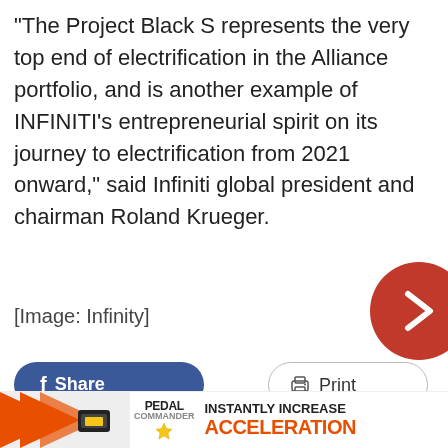“The Project Black S represents the very top end of electrification in the Alliance portfolio, and is another example of INFINITI’s entrepreneurial spirit on its journey to electrification from 2021 onward,” said Infiniti global president and chairman Roland Krueger.
[Image: Infinity]
[Figure (other): Navigation arrow button (red circle with right chevron)]
f Share
Print
#GreenMobility #Infiniti #InfinitiProjectBlackS #ProductNews
[Figure (infographic): Pedal Commander advertisement banner with orange arrows and text: INSTANTLY INCREASE ACCELERATION]